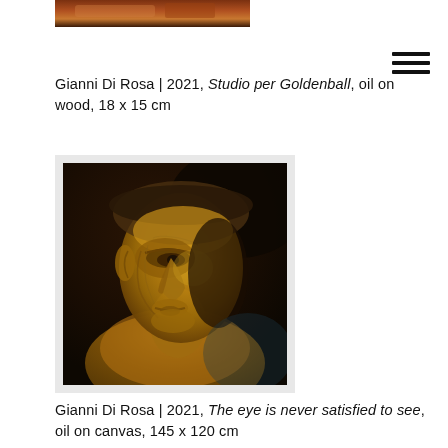[Figure (photo): Partial/cropped view of a painting at top of page]
Gianni Di Rosa | 2021, Studio per Goldenball, oil on wood, 18 x 15 cm
[Figure (photo): Painting by Gianni Di Rosa showing a golden mask-like face in profile against a dark background, surrealist style]
Gianni Di Rosa | 2021, The eye is never satisfied to see, oil on canvas, 145 x 120 cm